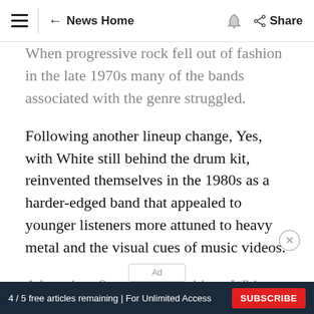≡ | ← News Home 🔔 Share
When progressive rock fell out of fashion in the late 1970s many of the bands associated with the genre struggled.
Following another lineup change, Yes, with White still behind the drum kit, reinvented themselves in the 1980s as a harder-edged band that appealed to younger listeners more attuned to heavy metal and the visual cues of music videos.
A longtime Seattle-area resident, White was
4 / 5 free articles remaining | For Unlimited Access SUBSCRIBE